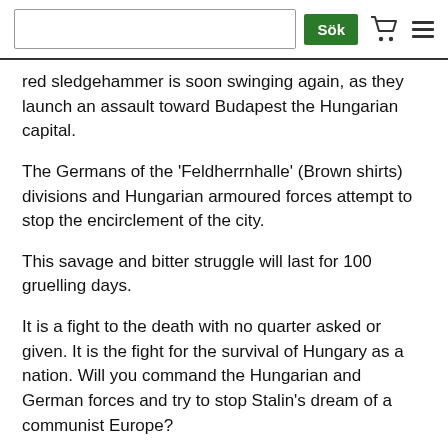Sök
red sledgehammer is soon swinging again, as they launch an assault toward Budapest the Hungarian capital.
The Germans of the ‘Feldherrnhalle’ (Brown shirts) divisions and Hungarian armoured forces attempt to stop the encirclement of the city.
This savage and bitter struggle will last for 100 gruelling days.
It is a fight to the death with no quarter asked or given. It is the fight for the survival of Hungary as a nation. Will you command the Hungarian and German forces and try to stop Stalin’s dream of a communist Europe?
Or, will you lead the brave Soviet and Romanian forces to victory and liberation of Europe.